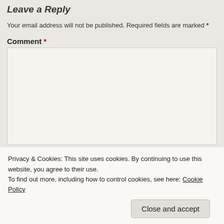Leave a Reply
Your email address will not be published. Required fields are marked *
Comment *
[Comment text area]
Privacy & Cookies: This site uses cookies. By continuing to use this website, you agree to their use.
To find out more, including how to control cookies, see here: Cookie Policy
Close and accept